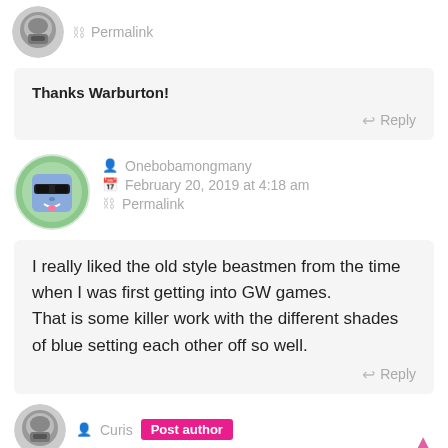Permalink
Thanks Warburton!
Reply
Onebobamongmany
February 20, 2019 at 4:18 am
Permalink
I really liked the old style beastmen from the time when I was first getting into GW games. That is some killer work with the different shades of blue setting each other off so well.
Reply
Curis  Post author